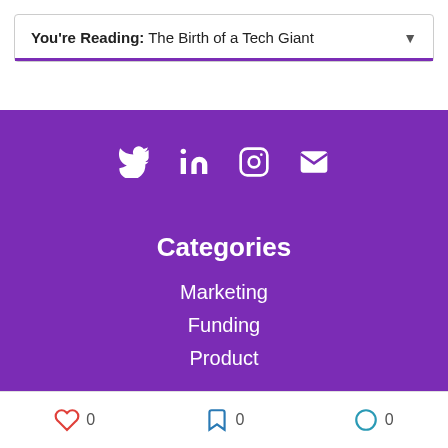You're Reading: The Birth of a Tech Giant
[Figure (infographic): Social media icons: Twitter, LinkedIn, Instagram, Email on purple background]
Categories
Marketing
Funding
Product
Glossary
0  0  0